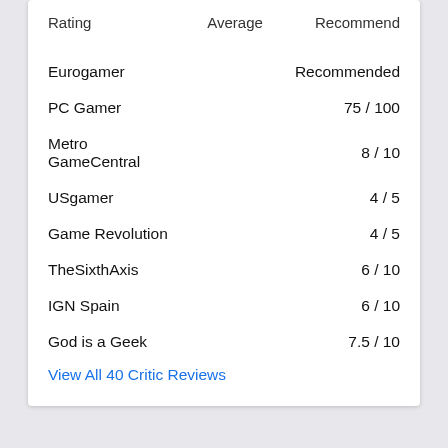| Rating | Average | Recommend |
| --- | --- | --- |
| Eurogamer |  | Recommended |
| PC Gamer |  | 75 / 100 |
| Metro GameCentral |  | 8 / 10 |
| USgamer |  | 4 / 5 |
| Game Revolution |  | 4 / 5 |
| TheSixthAxis |  | 6 / 10 |
| IGN Spain |  | 6 / 10 |
| God is a Geek |  | 7.5 / 10 |
View All 40 Critic Reviews